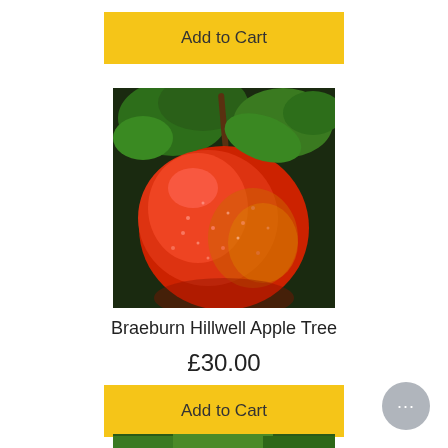[Figure (other): Yellow 'Add to Cart' button at top of page]
[Figure (photo): Close-up photograph of a red Braeburn apple with water droplets, hanging on a tree with green leaves in the background]
Braeburn Hillwell Apple Tree
£30.00
[Figure (other): Yellow 'Add to Cart' button below the price]
[Figure (other): Gray circular chat/help button with ellipsis (···) in the bottom right corner]
[Figure (photo): Partial view of another product image at the very bottom of the page, cut off]